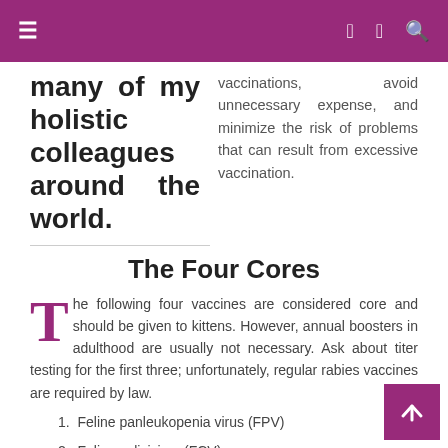≡  f  🐦  🔍
many of my holistic colleagues around the world.
vaccinations, avoid unnecessary expense, and minimize the risk of problems that can result from excessive vaccination.
The Four Cores
The following four vaccines are considered core and should be given to kittens. However, annual boosters in adulthood are usually not necessary. Ask about titer testing for the first three; unfortunately, regular rabies vaccines are required by law.
1. Feline panleukopenia virus (FPV)
2. Feline calicivirus (FCV)